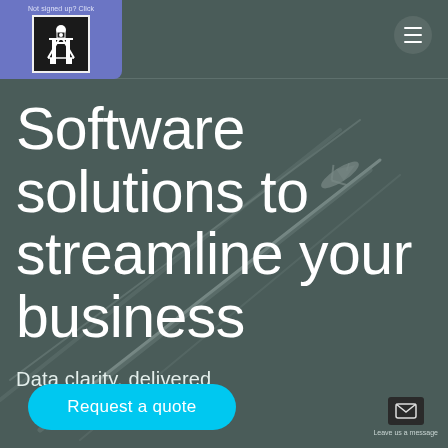[Figure (screenshot): Website landing page header with purple logo badge showing a person icon, text 'Not signed up? Click', hamburger menu icon on dark teal background with airplane contrail background image]
Software solutions to streamline your business
Data clarity, delivered
Request a quote
Leave us a message